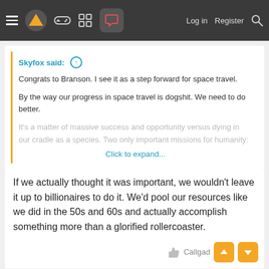Navigation bar with menu, logo, icons, Log in, Register, Search
Skyfox said: ↑
Congrats to Branson. I see it as a step forward for space travel.

By the way our progress in space travel is dogshit. We need to do better.
It's a matter of massive success and opportunity versus dying in our cradle as a species. Two only important missions for humanity:
Click to expand...
If we actually thought it was important, we wouldn't leave it up to billionaires to do it. We'd pool our resources like we did in the 50s and 60s and actually accomplish something more than a glorified rollercoaster.
Callgad
Blade2.0